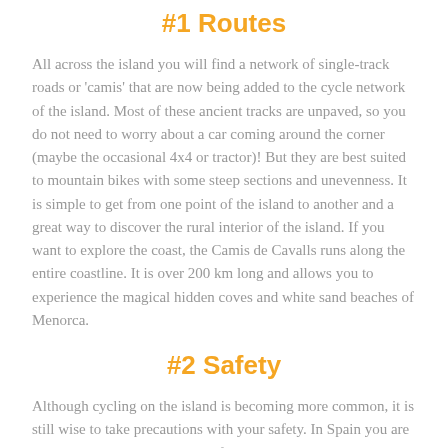#1 Routes
All across the island you will find a network of single-track roads or 'camis' that are now being added to the cycle network of the island. Most of these ancient tracks are unpaved, so you do not need to worry about a car coming around the corner (maybe the occasional 4x4 or tractor)! But they are best suited to mountain bikes with some steep sections and unevenness. It is simple to get from one point of the island to another and a great way to discover the rural interior of the island. If you want to explore the coast, the Camis de Cavalls runs along the entire coastline. It is over 200 km long and allows you to experience the magical hidden coves and white sand beaches of Menorca.
#2 Safety
Although cycling on the island is becoming more common, it is still wise to take precautions with your safety. In Spain you are required to wear a helmet and if you have one it is always best to bring it so that you know it fits correctly. Most hire companies also offer helmets, but for an